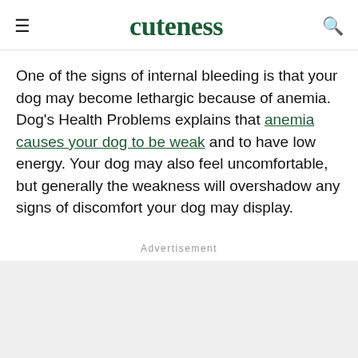cuteness
One of the signs of internal bleeding is that your dog may become lethargic because of anemia. Dog's Health Problems explains that anemia causes your dog to be weak and to have low energy. Your dog may also feel uncomfortable, but generally the weakness will overshadow any signs of discomfort your dog may display.
Advertisement